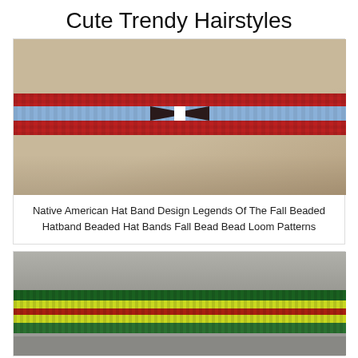Cute Trendy Hairstyles
[Figure (photo): A felt hat with a Native American style beaded hatband featuring red background with blue stripe and dark geometric pattern in the center]
Native American Hat Band Design Legends Of The Fall Beaded Hatband Beaded Hat Bands Fall Bead Bead Loom Patterns
[Figure (photo): Close-up of a beaded hat band on a grey felt hat, showing horizontal stripes of dark green, yellow-green, red, yellow-green, and green beads]